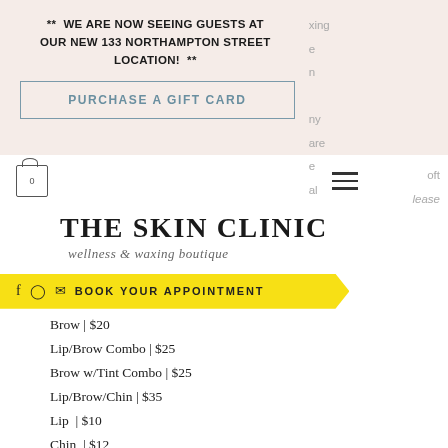** WE ARE NOW SEEING GUESTS AT OUR NEW 133 NORTHAMPTON STREET LOCATION! **
PURCHASE A GIFT CARD
THE SKIN CLINIC
wellness & waxing boutique
f  ☉  ✉  BOOK YOUR APPOINTMENT
Brow | $20
Lip/Brow Combo | $25
Brow w/Tint Combo | $25
Lip/Brow/Chin | $35
Lip  | $10
Chin  | $12
Sides of Face  | $20
Full Face | $60